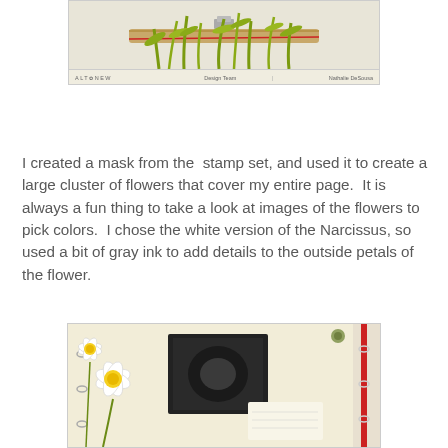[Figure (photo): Top portion of a craft/stamp project image showing green stems and leaves with a wooden stamp holder, featuring Altenew branding footer with 'Design Team' and 'Nathalie DeSousa']
I created a mask from the  stamp set, and used it to create a large cluster of flowers that cover my entire page.  It is always a fun thing to take a look at images of the flowers to pick colors.  I chose the white version of the Narcissus, so used a bit of gray ink to add details to the outside petals of the flower.
[Figure (photo): Bottom portion of a craft project scrapbook page showing narcissus/daffodil flowers in white and yellow, with a black and white photo in the center on a cream/beige background with red binder rings]